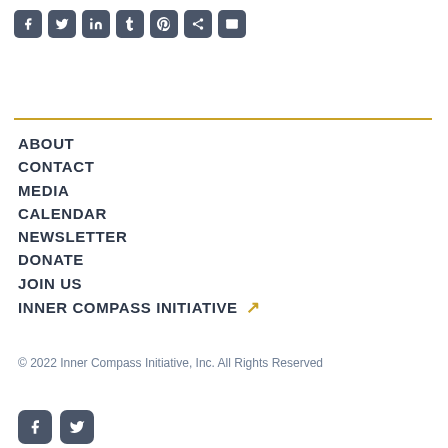[Figure (other): Row of social media share icons: Facebook, Twitter, LinkedIn, Tumblr, Pinterest, Share, Email]
ABOUT
CONTACT
MEDIA
CALENDAR
NEWSLETTER
DONATE
JOIN US
INNER COMPASS INITIATIVE ↗
© 2022 Inner Compass Initiative, Inc. All Rights Reserved
[Figure (other): Two social media icons at bottom: Facebook and Twitter]